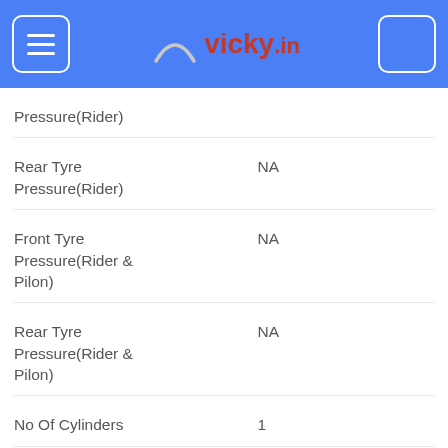vicky.in
Pressure(Rider)	NA
Rear Tyre Pressure(Rider)	NA
Front Tyre Pressure(Rider & Pilon)	NA
Rear Tyre Pressure(Rider & Pilon)	NA
No Of Cylinders	1
Gear Shift Pattern	All Down